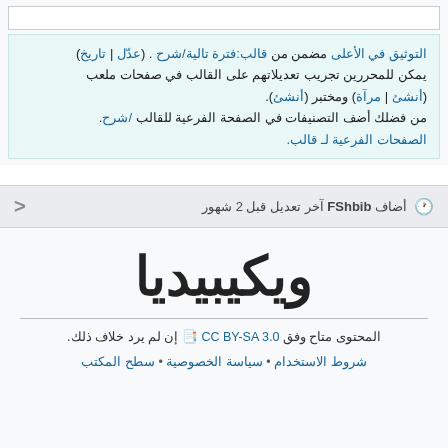التوثيق في الأعلى مضمن من قالب:فترة تالية/شرح . (عدّل | تاريخ)
يمكن للمحررين تجريب تعديلاتهم على القالب في صفحات ملعب (أنشئ | مرآة) ومختبر (أنشئ).
من فضلك أضف التصنيفات في الصفحة الفرعية للقالب /شرح.
الصفحات الفرعية لـ قالب.
أضاف FShbib آخر تعديل قبل 2 شهور
ويكيبيديا
المحتوى متاح وفق CC BY-SA 3.0 إن لم يرد خلاف ذلك.
شروط الاستخدام • سياسة الخصوصية • سطح المكتب